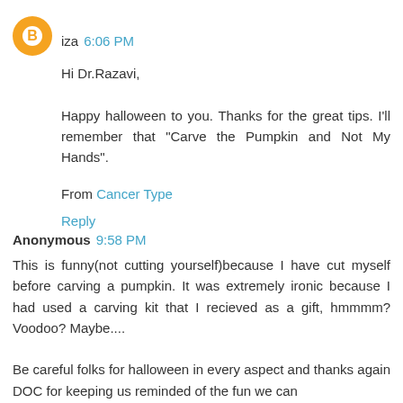iza 6:06 PM
Hi Dr.Razavi,

Happy halloween to you. Thanks for the great tips. I'll remember that "Carve the Pumpkin and Not My Hands".
From Cancer Type
Reply
Anonymous 9:58 PM
This is funny(not cutting yourself)because I have cut myself before carving a pumpkin. It was extremely ironic because I had used a carving kit that I recieved as a gift, hmmmm? Voodoo? Maybe....
Be careful folks for halloween in every aspect and thanks again DOC for keeping us reminded of the fun we can